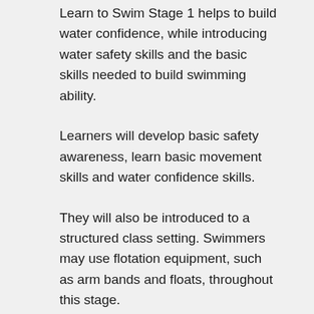Learn to Swim Stage 1 helps to build water confidence, while introducing water safety skills and the basic skills needed to build swimming ability.
Learners will develop basic safety awareness, learn basic movement skills and water confidence skills.
They will also be introduced to a structured class setting. Swimmers may use flotation equipment, such as arm bands and floats, throughout this stage.
The early stages are really important for developing the building blocks for future technique and the skills that are learnt should be from the inside...